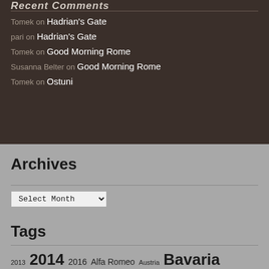Recent Comments
Tomek on Hadrian’s Gate
pari on Hadrian’s Gate
Tomek on Good Morning Rome
Susanna Belter on Good Morning Rome
Tomek on Ostuni
Archives
Select Month
Tags
2013 2014 2016 Alfa Romeo Austria Bavaria Castle